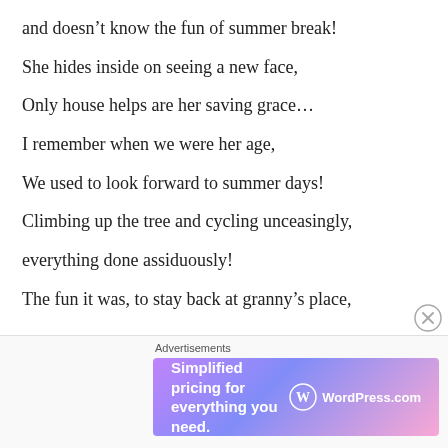and doesn't know the fun of summer break!
She hides inside on seeing a new face,
Only house helps are her saving grace...
I remember when we were her age,
We used to look forward to summer days!
Climbing up the tree and cycling unceasingly,
everything done assiduously!
The fun it was, to stay back at granny's place,
Advertisements
Simplified pricing for everything you need. WordPress.com